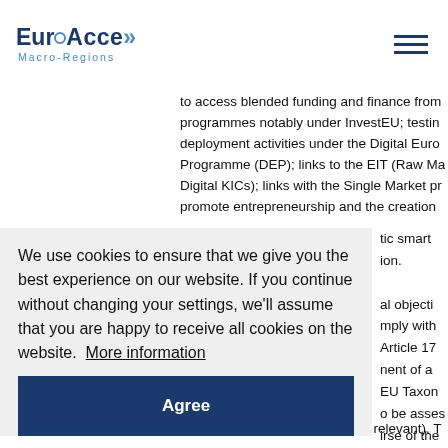EuroAccess Macro-Regions
to access blended funding and finance from programmes notably under InvestEU; testing deployment activities under the Digital Euro Programme (DEP); links to the EIT (Raw Ma Digital KICs); links with the Single Market pr promote entrepreneurship and the creation tic smart ion.
We use cookies to ensure that we give you the best experience on our website. If you continue without changing your settings, we'll assume that you are happy to receive all cookies on the website.  More information
Agree
al objecti mply with Article 17 nent of a EU Taxom o be asses irse of the ict of the
commercialisation stage (where relevant). T